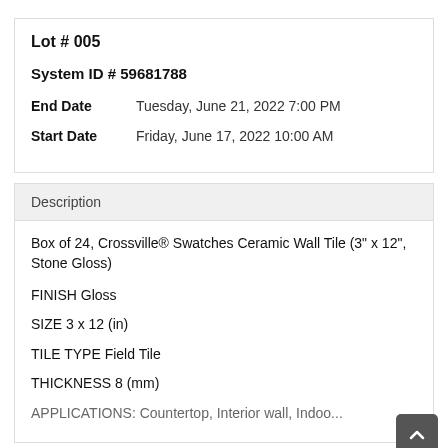Lot # 005
System ID # 59681788
End Date    Tuesday, June 21, 2022 7:00 PM
Start Date    Friday, June 17, 2022 10:00 AM
Description
Box of 24, Crossville® Swatches Ceramic Wall Tile (3" x 12", Stone Gloss)
FINISH Gloss
SIZE 3 x 12 (in)
TILE TYPE Field Tile
THICKNESS 8 (mm)
APPLICATIONS: Countertop, Interior wall, Indoor, Interior...